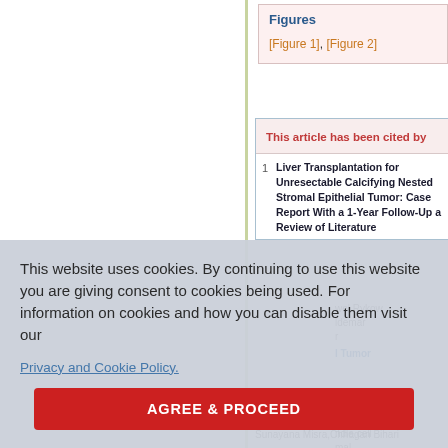Figures
[Figure 1], [Figure 2]
This article has been cited by
Liver Transplantation for Unresectable Calcifying Nested Stromal Epithelial Tumor: Case Report With a 1-Year Follow-Up a Review of Literature
This website uses cookies. By continuing to use this website you are giving consent to cookies being used. For information on cookies and how you can disable them visit our Privacy and Cookie Policy.
AGREE & PROCEED
Sunayana Misra, Chhagan Bihari